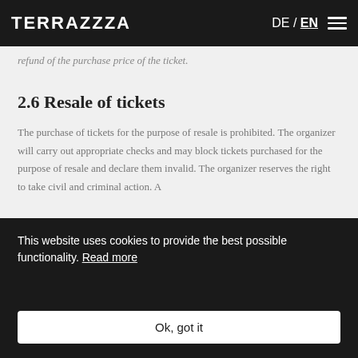TERRAZZZA | DE / EN
refund of the purchase price of the ticket.
2.6 Resale of tickets
The purchase of tickets for the purpose of resale is prohibited. The organizer will carry out appropriate checks and may block tickets purchased for the purpose of resale and declare them invalid. The organizer reserves the right to take civil and criminal action. A
This website uses cookies to provide the best possible functionality. Read more
Ok, got it